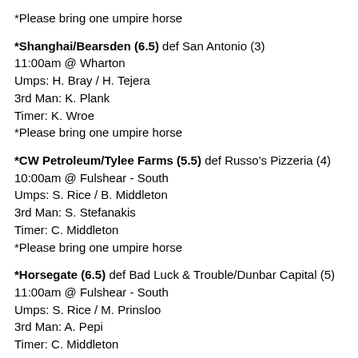*Please bring one umpire horse
*Shanghai/Bearsden (6.5) def San Antonio (3)
11:00am @ Wharton
Umps: H. Bray / H. Tejera
3rd Man: K. Plank
Timer: K. Wroe
*Please bring one umpire horse
*CW Petroleum/Tylee Farms (5.5) def Russo's Pizzeria (4)
10:00am @ Fulshear - South
Umps: S. Rice / B. Middleton
3rd Man: S. Stefanakis
Timer: C. Middleton
*Please bring one umpire horse
*Horsegate (6.5) def Bad Luck & Trouble/Dunbar Capital (5)
11:00am @ Fulshear - South
Umps: S. Rice / M. Prinsloo
3rd Man: A. Pepi
Timer: C. Middleton